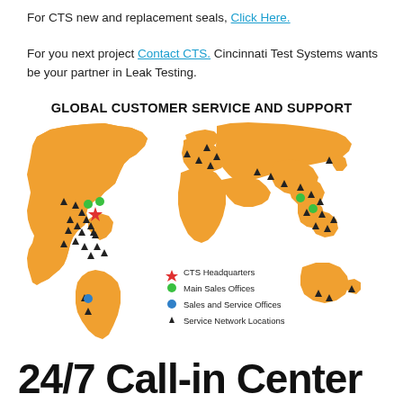For CTS new and replacement seals, Click Here.
For you next project Contact CTS. Cincinnati Test Systems wants be your partner in Leak Testing.
GLOBAL CUSTOMER SERVICE AND SUPPORT
[Figure (map): World map in orange showing CTS global locations including headquarters (red star), main sales offices (green circles), sales and service offices (blue circles), and service network locations (black triangles) across North America, Europe, Asia, South America, and Australia.]
24/7 Call-in Center